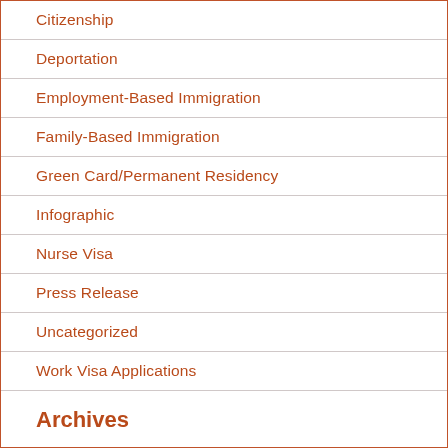Citizenship
Deportation
Employment-Based Immigration
Family-Based Immigration
Green Card/Permanent Residency
Infographic
Nurse Visa
Press Release
Uncategorized
Work Visa Applications
Archives
2022